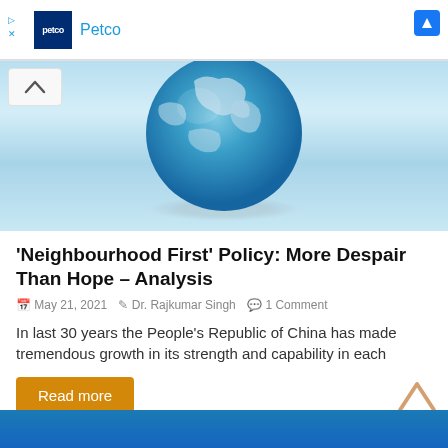[Figure (logo): Petco advertisement banner with logo and brand name]
[Figure (photo): Blue globe/Earth image on light blue background representing global topics]
‘Neighbourhood First’ Policy: More Despair Than Hope – Analysis
May 21, 2021 · Dr. Rajkumar Singh · 1 Comment
In last 30 years the People’s Republic of China has made tremendous growth in its strength and capability in each
Read more